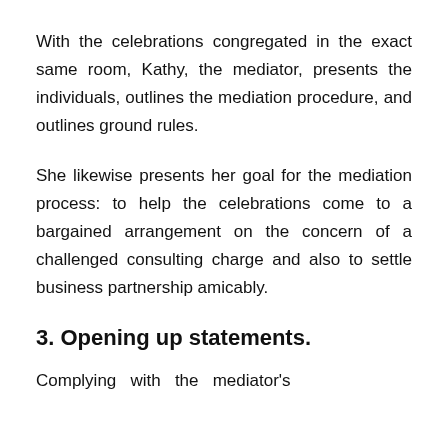With the celebrations congregated in the exact same room, Kathy, the mediator, presents the individuals, outlines the mediation procedure, and outlines ground rules.
She likewise presents her goal for the mediation process: to help the celebrations come to a bargained arrangement on the concern of a challenged consulting charge and also to settle business partnership amicably.
3. Opening up statements.
Complying with the mediator's